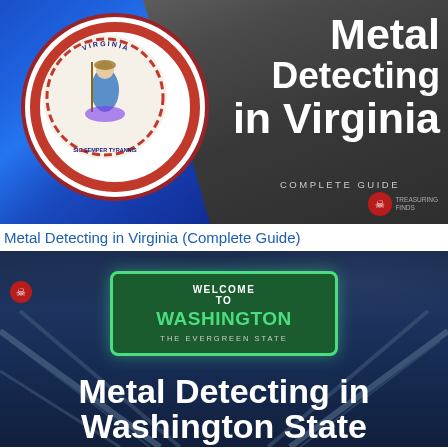[Figure (illustration): Banner image for Metal Detecting in Virginia guide showing Virginia state flag with seal on left and bold white text on dark gray background on right reading 'Metal Detecting in Virginia - COMPLETE GUIDE' with a small pirate mascot logo]
Metal Detecting in Virginia (Complete Guide)
[Figure (illustration): Banner image for Metal Detecting in Washington State guide showing a dark blue night sky with a green 'Welcome to Washington - The Evergreen State' road sign and bold white text at bottom reading 'Metal Detecting in Washington State']